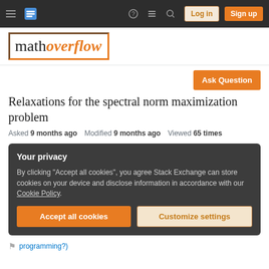MathOverflow navigation bar with Log in and Sign up buttons
[Figure (logo): MathOverflow logo with orange and brown border box]
Ask Question
Relaxations for the spectral norm maximization problem
Asked 9 months ago   Modified 9 months ago   Viewed 65 times
Your privacy
By clicking "Accept all cookies", you agree Stack Exchange can store cookies on your device and disclose information in accordance with our Cookie Policy.
Accept all cookies
Customize settings
programming?)